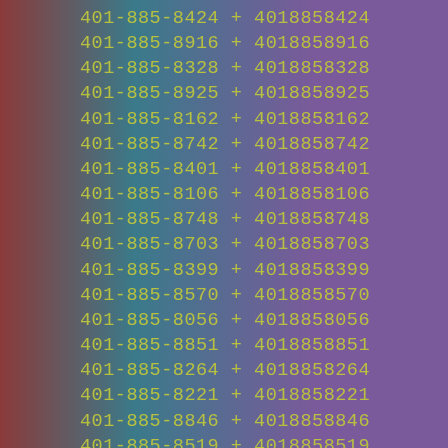401-885-8424 + 4018858424
401-885-8916 + 4018858916
401-885-8328 + 4018858328
401-885-8925 + 4018858925
401-885-8162 + 4018858162
401-885-8742 + 4018858742
401-885-8401 + 4018858401
401-885-8106 + 4018858106
401-885-8748 + 4018858748
401-885-8703 + 4018858703
401-885-8399 + 4018858399
401-885-8570 + 4018858570
401-885-8056 + 4018858056
401-885-8851 + 4018858851
401-885-8264 + 4018858264
401-885-8221 + 4018858221
401-885-8846 + 4018858846
401-885-8519 + 4018858519
401-885-8958 + 4018858958
401-885-8503 + 4018858503
401-885-8192 + 4018858192
401-885-8373 + 4018858373
401-885-8226 + 4018858226